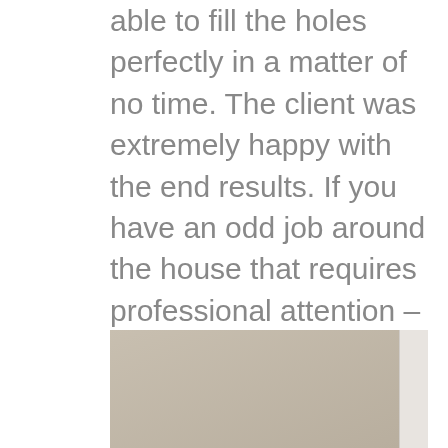able to fill the holes perfectly in a matter of no time. The client was extremely happy with the end results. If you have an odd job around the house that requires professional attention – do not hesitate to contact us. The expert handymen on our team know the ins and outs of any odd job you can think of from electricity, building, and roofing to furniture installation, window repair, and more! Get in touch with us today!
[Figure (photo): Partial view of a room interior showing a smooth taupe/beige wall and a white door frame on the right edge.]